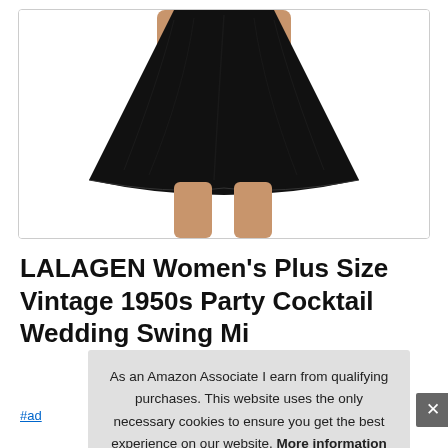[Figure (photo): Product photo of a black vintage swing skirt dress, showing a woman's torso and legs wearing a full, knee-length black skirt with a white background]
LALAGEN Women's Plus Size Vintage 1950s Party Cocktail Wedding Swing Mi
As an Amazon Associate I earn from qualifying purchases. This website uses the only necessary cookies to ensure you get the best experience on our website. More information
#ad